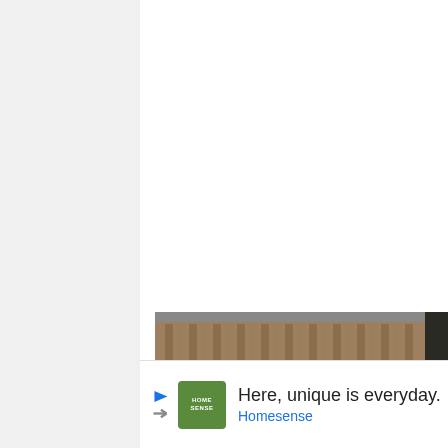[Figure (photo): Outdoor raised garden beds with vegetables growing, set on a mulch-covered ground. A person is bending over one of the beds tending to plants. Wooden fence in the background. Multiple rectangular wooden raised beds with leafy green plants.]
[Figure (infographic): Advertisement banner at bottom: Home Sense logo (green square with white text), text 'Here, unique is everyday.' and 'Homesense' in blue, navigation arrow icon in blue diamond shape, and close X button.]